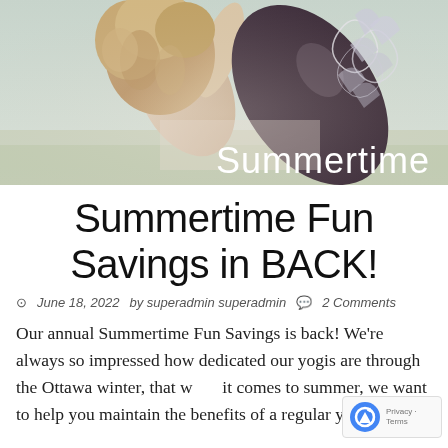[Figure (photo): Hero image of a yoga practitioner with curly hair bending backward outdoors, wearing dark patterned yoga pants. Soft, light-colored background.]
Summertime Fun Savings in BACK!
June 18, 2022   by superadmin superadmin   2 Comments
Our annual Summertime Fun Savings is back! We're always so impressed how dedicated our yogis are through the Ottawa winter, that when it comes to summer, we want to help you maintain the benefits of a regular yoga practice